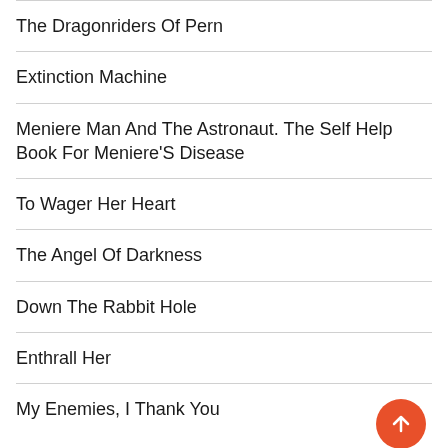The Dragonriders Of Pern
Extinction Machine
Meniere Man And The Astronaut. The Self Help Book For Meniere'S Disease
To Wager Her Heart
The Angel Of Darkness
Down The Rabbit Hole
Enthrall Her
My Enemies, I Thank You
Remembrance Day